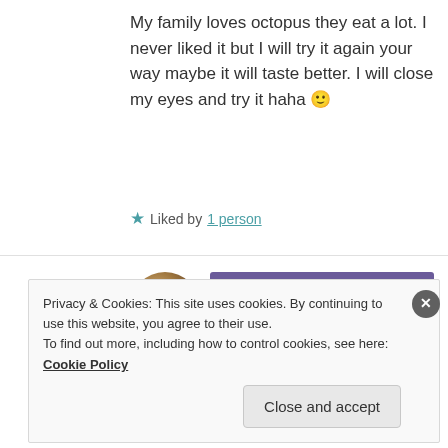My family loves octopus they eat a lot. I never liked it but I will try it again your way maybe it will taste better. I will close my eyes and try it haha 🙂
★ Liked by 1 person
[Figure (photo): Circular avatar photo of El Coleccionista Hipnótico with a play button overlay]
El Coleccionista Hipnótico — 20 November, 2016 at 9:30 pm
You must wait to try it here, in Spain... maybe then you will appreciate it 😉
Privacy & Cookies: This site uses cookies. By continuing to use this website, you agree to their use. To find out more, including how to control cookies, see here: Cookie Policy